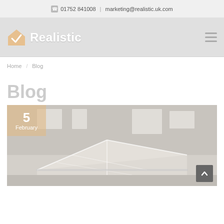01752 841008  |  marketing@realistic.uk.com
[Figure (logo): Realistic company logo with house/checkmark icon and 'Realistic' text in white, on grey background with hamburger menu icon]
Home / Blog
Blog
[Figure (photo): Overhead view of a conservatory roof/orangery with white uPVC frames, set in a residential brick building. Date badge showing '5 February' in the top-left corner. Scroll-to-top arrow button in the bottom-right corner.]